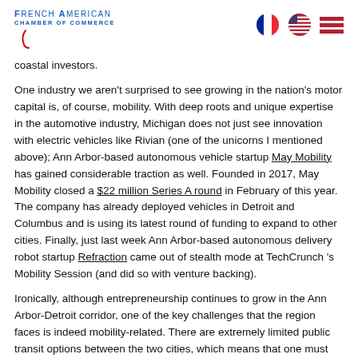French American Chamber of Commerce
coastal investors.
One industry we aren't surprised to see growing in the nation's motor capital is, of course, mobility. With deep roots and unique expertise in the automotive industry, Michigan does not just see innovation with electric vehicles like Rivian (one of the unicorns I mentioned above); Ann Arbor-based autonomous vehicle startup May Mobility has gained considerable traction as well. Founded in 2017, May Mobility closed a $22 million Series A round in February of this year. The company has already deployed vehicles in Detroit and Columbus and is using its latest round of funding to expand to other cities. Finally, just last week Ann Arbor-based autonomous delivery robot startup Refraction came out of stealth mode at TechCrunch 's Mobility Session (and did so with venture backing).
Ironically, although entrepreneurship continues to grow in the Ann Arbor-Detroit corridor, one of the key challenges that the region faces is indeed mobility-related. There are extremely limited public transit options between the two cities, which means that one must drive a car between them in order to connect. The ecosystem would arguably